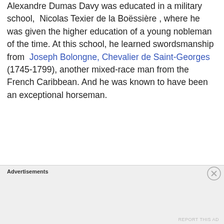Alexandre Dumas Davy was educated in a military school, Nicolas Texier de la Boëssière , where he was given the higher education of a young nobleman of the time. At this school, he learned swordsmanship from Joseph Bolongne, Chevalier de Saint-Georges (1745-1799), another mixed-race man from the French Caribbean. And he was known to have been an exceptional horseman.
Advertisements